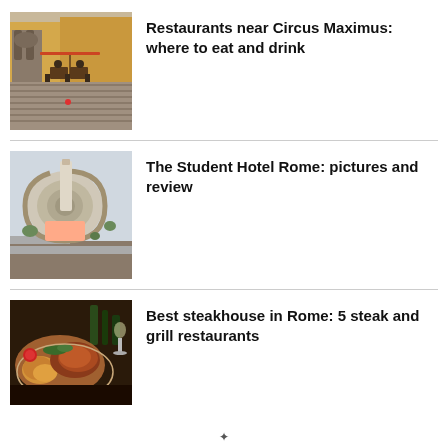[Figure (photo): Outdoor restaurant seating area with stone arches and cobblestone street near Circus Maximus, Rome]
Restaurants near Circus Maximus: where to eat and drink
[Figure (photo): Aerial view of The Student Hotel Rome, a modern spiral-shaped building complex with courtyard]
The Student Hotel Rome: pictures and review
[Figure (photo): Plate of steak and grilled food with drinks at a Rome steakhouse restaurant]
Best steakhouse in Rome: 5 steak and grill restaurants